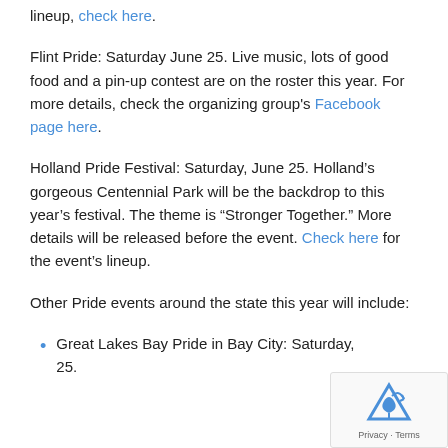lineup, check here.
Flint Pride: Saturday June 25. Live music, lots of good food and a pin-up contest are on the roster this year. For more details, check the organizing group's Facebook page here.
Holland Pride Festival: Saturday, June 25. Holland's gorgeous Centennial Park will be the backdrop to this year's festival. The theme is “Stronger Together.” More details will be released before the event. Check here for the event's lineup.
Other Pride events around the state this year will include:
Great Lakes Bay Pride in Bay City: Saturday, 25.